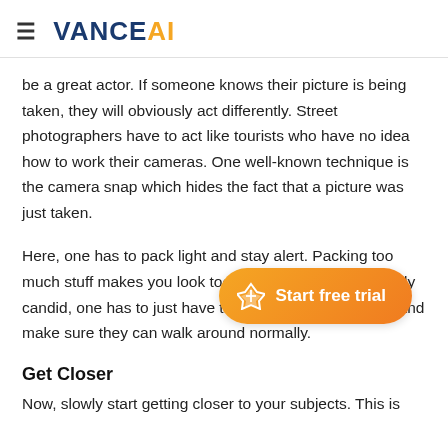≡ VANCE AI
be a great actor. If someone knows their picture is being taken, they will obviously act differently. Street photographers have to act like tourists who have no idea how to work their cameras. One well-known technique is the camera snap which hides the fact that a picture was just taken.
Here, one has to pack light and stay alert. Packing too much stuff makes you look too noticeable, To be perfectly candid, one has to just have the camera in their hands and make sure they can walk around normally.
Get Closer
Now, slowly start getting closer to your subjects. This is